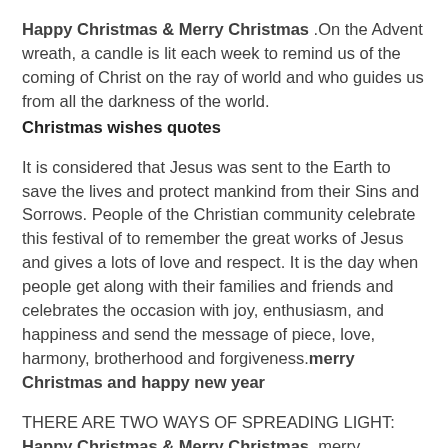Happy Christmas & Merry Christmas .On the Advent wreath, a candle is lit each week to remind us of the coming of Christ on the ray of world and who guides us from all the darkness of the world.
Christmas wishes quotes
It is considered that Jesus was sent to the Earth to save the lives and protect mankind from their Sins and Sorrows. People of the Christian community celebrate this festival of to remember the great works of Jesus and gives a lots of love and respect. It is the day when people get along with their families and friends and celebrates the occasion with joy, enthusiasm, and happiness and send the message of piece, love, harmony, brotherhood and forgiveness.merry Christmas and happy new year
THERE ARE TWO WAYS OF SPREADING LIGHT: Happy Christmas & Merry Christmas ,merry